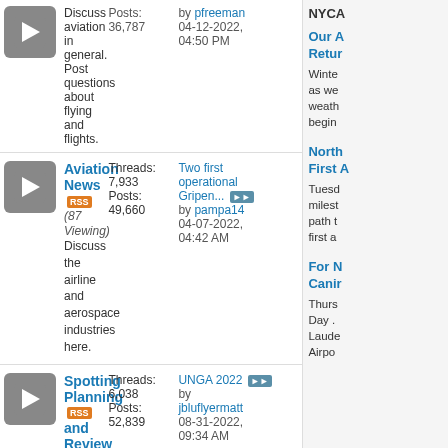| Forum | Stats | Last Post |
| --- | --- | --- |
| Aviation News (87 Viewing) Discuss the airline and aerospace industries here. | Threads 7,933 Posts: 49,660 | Two first operational Gripen... by pampa14 04-07-2022, 04:42 AM |
| Spotting Planning and Review (105 Viewing) Plan out your spotting meet ups, learn about spotting locations, see who is going out this weekend and post photos and discuss how your spotting adventure went all over the world! | Threads 6,038 Posts: 52,839 | UNGA 2022 by jbluflyermatt 08-31-2022, 09:34 AM |
| Aviation Videos (337 Viewing) Post your aviation spotting videos or any aviation videos you find on the internet. Airline, military, general aviation, helicopter, no matter!! Don't forget to use the embed coding when able! | Threads 2,778 Posts: 45,980 | Saudi Arabian Airlines... by AlexSBA340 08-24-2022, 03:15 PM |
NYCA
Our A Retur Winter as we weath begin
North First A Tuesd milest path t first a
For N Canir Thurs Day . Laude Airpo